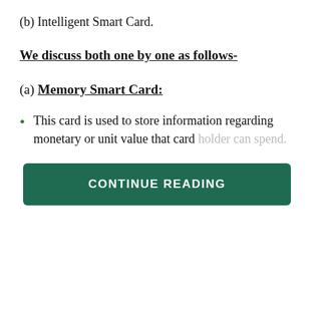(b) Intelligent Smart Card.
We discuss both one by one as follows-
(a) Memory Smart Card:
This card is used to store information regarding monetary or unit value that card holder can spend.
CONTINUE READING